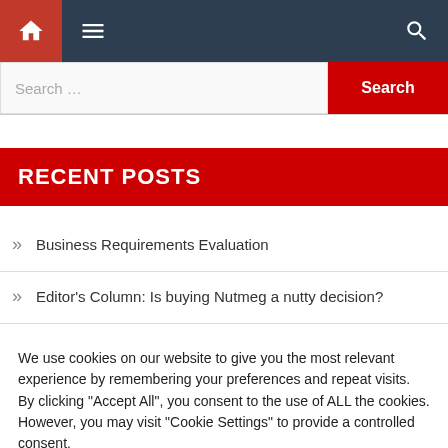[Figure (screenshot): Navigation bar with home icon, hamburger menu, and search icon on dark background]
RECENT POSTS
Business Requirements Evaluation
Editor's Column: Is buying Nutmeg a nutty decision?
We use cookies on our website to give you the most relevant experience by remembering your preferences and repeat visits. By clicking "Accept All", you consent to the use of ALL the cookies. However, you may visit "Cookie Settings" to provide a controlled consent.
Cookie Settings | Accept All